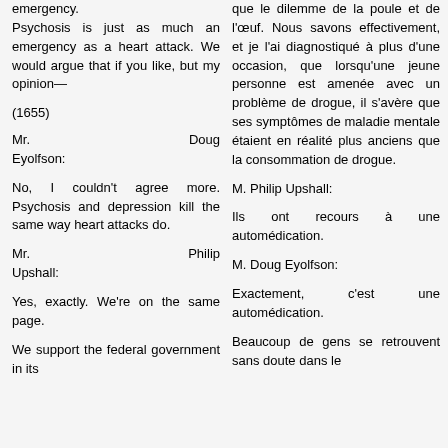emergency. Psychosis is just as much an emergency as a heart attack. We would argue that if you like, but my opinion—
(1655)
Mr. Doug Eyolfson:
No, I couldn't agree more. Psychosis and depression kill the same way heart attacks do.
Mr. Philip Upshall:
Yes, exactly. We're on the same page.
We support the federal government in its
que le dilemme de la poule et de l'œuf. Nous savons effectivement, et je l'ai diagnostiqué à plus d'une occasion, que lorsqu'une jeune personne est amenée avec un problème de drogue, il s'avère que ses symptômes de maladie mentale étaient en réalité plus anciens que la consommation de drogue.
M. Philip Upshall:
Ils ont recours à une automédication.
M. Doug Eyolfson:
Exactement, c'est une automédication.
Beaucoup de gens se retrouvent sans doute dans le